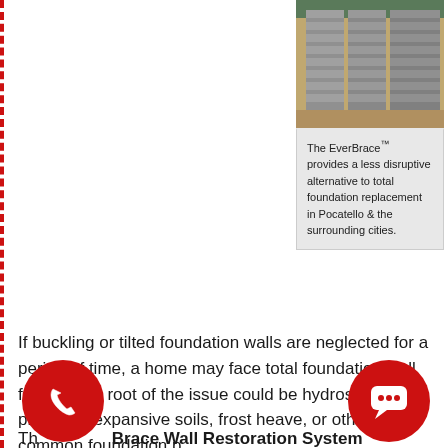[Figure (photo): Photo of metallic EverBrace wall bracing panels installed in a basement foundation]
The EverBrace™ provides a less disruptive alternative to total foundation replacement in Pocatello & the surrounding cities.
If buckling or tilted foundation walls are neglected for a period of time, a home may face total foundation wall failure. The root of the issue could be hydrostatic pressure, expansive soils, frost heave, or other common foundation p
The EverBrace Wall Restoration System™ permanentl